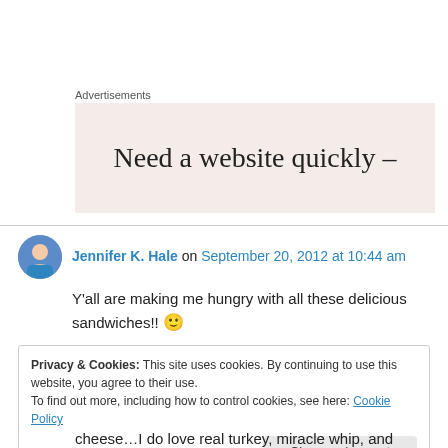Advertisements
[Figure (other): Advertisement banner with text 'Need a website quickly –' on a beige/cream background]
Jennifer K. Hale on September 20, 2012 at 10:44 am
Y'all are making me hungry with all these delicious sandwiches!! 🙂
Privacy & Cookies: This site uses cookies. By continuing to use this website, you agree to their use.
To find out more, including how to control cookies, see here: Cookie Policy
Close and accept
cheese…I do love real turkey, miracle whip, and